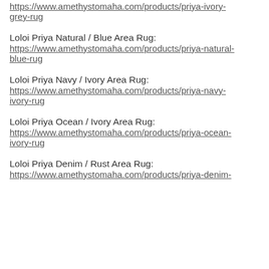https://www.amethystomaha.com/products/priya-ivory-grey-rug
Loloi Priya Natural / Blue Area Rug:
https://www.amethystomaha.com/products/priya-natural-blue-rug
Loloi Priya Navy / Ivory Area Rug:
https://www.amethystomaha.com/products/priya-navy-ivory-rug
Loloi Priya Ocean / Ivory Area Rug:
https://www.amethystomaha.com/products/priya-ocean-ivory-rug
Loloi Priya Denim / Rust Area Rug:
https://www.amethystomaha.com/products/priya-denim-...